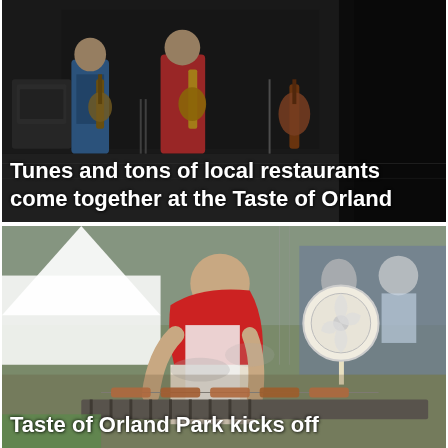[Figure (photo): Band performing on stage with musicians playing guitars; stage lights and equipment visible in the background.]
Tunes and tons of local restaurants come together at the Taste of Orland
[Figure (photo): A man in a red sleeveless shirt grilling meat on skewers at an outdoor food festival, with a fan on the table and people seated in the background.]
Taste of Orland Park kicks off